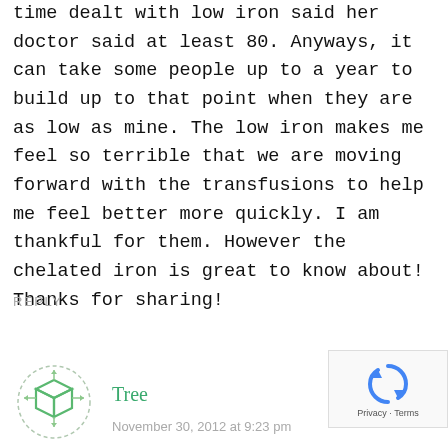time dealt with low iron said her doctor said at least 80. Anyways, it can take some people up to a year to build up to that point when they are as low as mine. The low iron makes me feel so terrible that we are moving forward with the transfusions to help me feel better more quickly. I am thankful for them. However the chelated iron is great to know about! Thanks for sharing!
REPLY
[Figure (illustration): Avatar icon — green cube/box logo outline]
Tree
November 30, 2012 at 9:23 pm
[Figure (logo): reCAPTCHA logo and Privacy + Terms text]